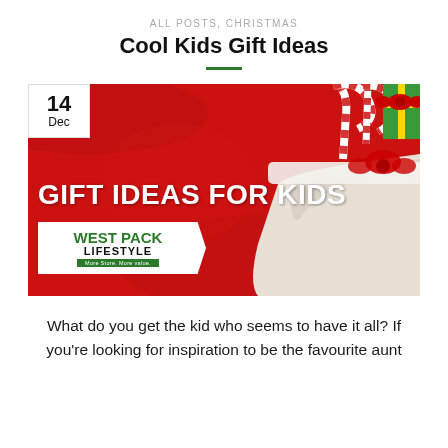ALL POSTS, CHRISTMAS
Cool Kids Gift Ideas
[Figure (photo): Promotional banner image with red background, white gift bag with candy canes and Christmas presents, bold white text reading 'GIFT IDEAS FOR KIDS', date badge '14 Dec', and West Pack Lifestyle logo]
What do you get the kid who seems to have it all? If you're looking for inspiration to be the favourite aunt